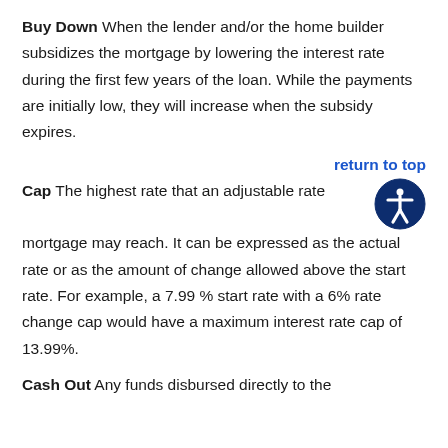Buy Down When the lender and/or the home builder subsidizes the mortgage by lowering the interest rate during the first few years of the loan. While the payments are initially low, they will increase when the subsidy expires.
return to top
Cap The highest rate that an adjustable rate mortgage may reach. It can be expressed as the actual rate or as the amount of change allowed above the start rate. For example, a 7.99 % start rate with a 6% rate change cap would have a maximum interest rate cap of 13.99%.
Cash Out Any funds disbursed directly to the